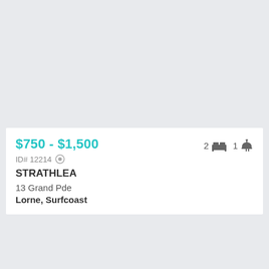[Figure (photo): Property photo placeholder - light grey background]
$750 - $1,500
2 beds 1 bath
ID# 12214
STRATHLEA
13 Grand Pde
Lorne, Surfcoast
[Figure (photo): Second property photo placeholder - light grey background with heart and share action buttons]